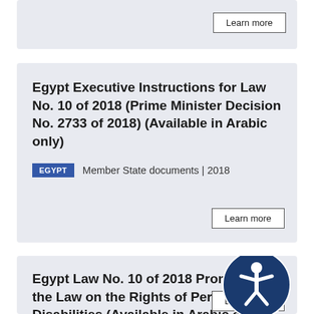Learn more
Egypt Executive Instructions for Law No. 10 of 2018 (Prime Minister Decision No. 2733 of 2018) (Available in Arabic only)
EGYPT   Member State documents | 2018
Learn more
Egypt Law No. 10 of 2018 Promulgating the Law on the Rights of Persons with Disabilities (Available in Arabic only)
EGYPT   Member State documents | 2018
Learn more